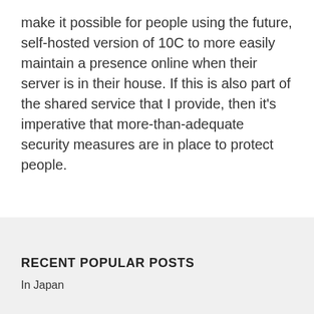make it possible for people using the future, self-hosted version of 10C to more easily maintain a presence online when their server is in their house. If this is also part of the shared service that I provide, then it's imperative that more-than-adequate security measures are in place to protect people.
RECENT POPULAR POSTS
In Japan